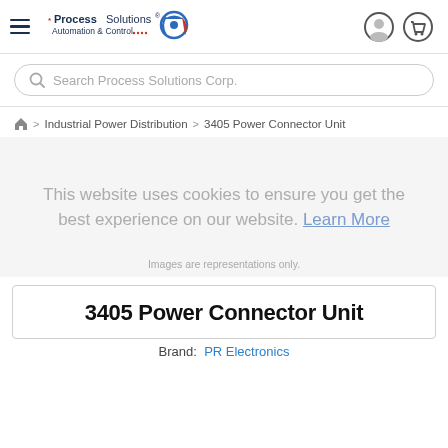Process Solutions Automation & Control
Search Process Solutions Corp.
Home > Industrial Power Distribution > 3405 Power Connector Unit
[Figure (photo): Product image area (blank/loading) with cookie consent overlay text and 'Images are representations only.' caption]
Images are representations only.
3405 Power Connector Unit
Brand:  PR Electronics